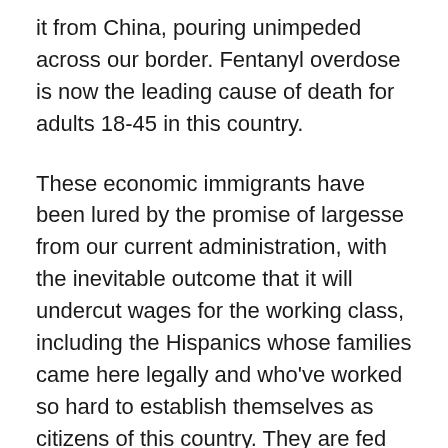it from China, pouring unimpeded across our border. Fentanyl overdose is now the leading cause of death for adults 18-45 in this country.
These economic immigrants have been lured by the promise of largesse from our current administration, with the inevitable outcome that it will undercut wages for the working class, including the Hispanics whose families came here legally and who've worked so hard to establish themselves as citizens of this country. They are fed up. A recent poll showed that 65% of Hispanics want to see the border entirely closed.
Title 42 acted as a thin bandaid on this ocean of illegal immigration, allowing us during COVID to expel aliens under the auspices of this public health act. Biden has sought to end this protection, but has been